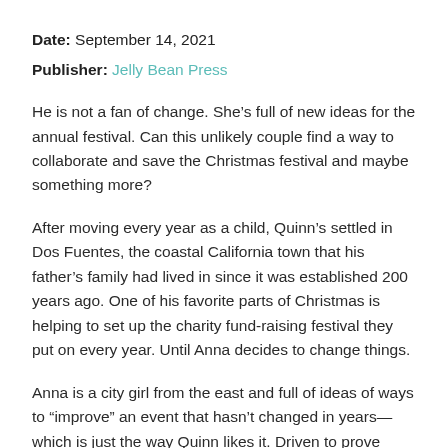Date: September 14, 2021
Publisher: Jelly Bean Press
He is not a fan of change. She’s full of new ideas for the annual festival. Can this unlikely couple find a way to collaborate and save the Christmas festival and maybe something more?
After moving every year as a child, Quinn’s settled in Dos Fuentes, the coastal California town that his father’s family had lived in since it was established 200 years ago. One of his favorite parts of Christmas is helping to set up the charity fund-raising festival they put on every year. Until Anna decides to change things.
Anna is a city girl from the east and full of ideas of ways to “improve” an event that hasn’t changed in years—which is just the way Quinn likes it. Driven to prove herself to her new boss, Anna is frustrated by Quinn’s opposition to her